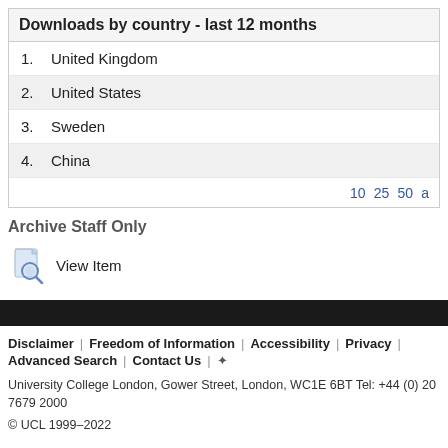Downloads by country - last 12 months
1. United Kingdom
2. United States
3. Sweden
4. China
10 25 50 a
Archive Staff Only
View Item
Disclaimer | Freedom of Information | Accessibility | Privacy | Advanced Search | Contact Us | +
University College London, Gower Street, London, WC1E 6BT Tel: +44 (0) 20 7679 2000
© UCL 1999–2022